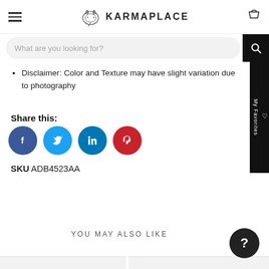KARMAPLACE
Disclaimer: Color and Texture may have slight variation due to photography
Share this:
[Figure (other): Social share icons: Facebook (blue circle), Twitter (light blue circle), LinkedIn (dark blue circle), Pinterest (red circle)]
SKU ADB4523AA
YOU MAY ALSO LIKE